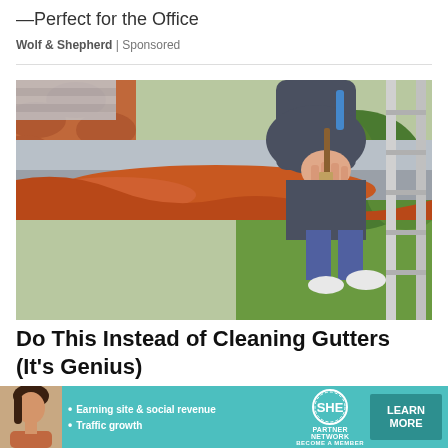—Perfect for the Office
Wolf & Shepherd | Sponsored
[Figure (photo): Person on a ladder painting the inside of a rain gutter with an orange/rust colored sealant using a paintbrush]
Do This Instead of Cleaning Gutters (It's Genius)
LeafFilter Partner | Sponsored
[Figure (infographic): Banner advertisement for SHE Media Partner Network showing a woman, bullet points 'Earning site & social revenue' and 'Traffic growth', SHE logo, and a 'LEARN MORE' button with 'BECOME A MEMBER' text]